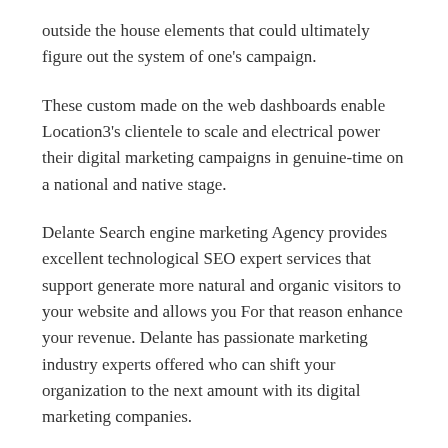outside the house elements that could ultimately figure out the system of one's campaign.
These custom made on the web dashboards enable Location3's clientele to scale and electrical power their digital marketing campaigns in genuine-time on a national and native stage.
Delante Search engine marketing Agency provides excellent technological SEO expert services that support generate more natural and organic visitors to your website and allows you For that reason enhance your revenue. Delante has passionate marketing industry experts offered who can shift your organization to the next amount with its digital marketing companies.
Advertiser Disclosure: Many of the products that appear…